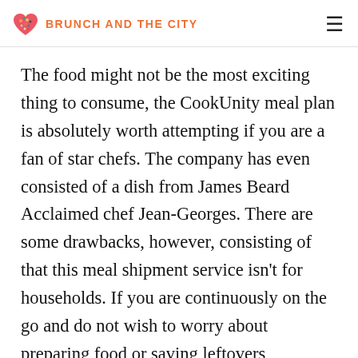BRUNCH AND THE CITY
The food might not be the most exciting thing to consume, the CookUnity meal plan is absolutely worth attempting if you are a fan of star chefs. The company has even consisted of a dish from James Beard Acclaimed chef Jean-Georges. There are some drawbacks, however, consisting of that this meal shipment service isn't for households. If you are continuously on the go and do not wish to worry about preparing food or saving leftovers, CookUnity is not for you. It is likewise not